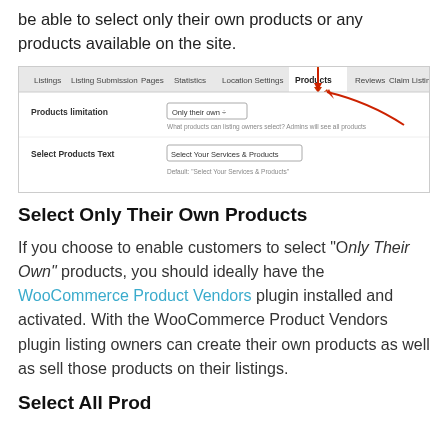be able to select only their own products or any products available on the site.
[Figure (screenshot): WordPress admin panel screenshot showing 'Products' tab selected with arrows pointing to it. Fields shown: 'Products limitation' set to 'Only their own' dropdown with helper text, and 'Select Products Text' field with 'Select Your Services & Products' value.]
Select Only Their Own Products
If you choose to enable customers to select “Only Their Own” products, you should ideally have the WooCommerce Product Vendors plugin installed and activated. With the WooCommerce Product Vendors plugin listing owners can create their own products as well as sell those products on their listings.
Select All Prod...